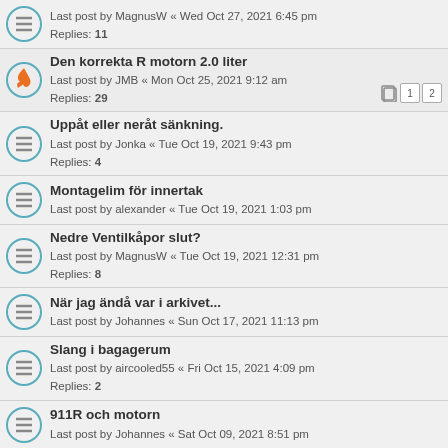Last post by MagnusW « Wed Oct 27, 2021 6:45 pm
Replies: 11
Den korrekta R motorn 2.0 liter
Last post by JMB « Mon Oct 25, 2021 9:12 am
Replies: 29
Uppåt eller neråt sänkning.
Last post by Jonka « Tue Oct 19, 2021 9:43 pm
Replies: 4
Montagelim för innertak
Last post by alexander « Tue Oct 19, 2021 1:03 pm
Nedre Ventilkåpor slut?
Last post by MagnusW « Tue Oct 19, 2021 12:31 pm
Replies: 8
När jag ändå var i arkivet...
Last post by Johannes « Sun Oct 17, 2021 11:13 pm
Slang i bagagerum
Last post by aircooled55 « Fri Oct 15, 2021 4:09 pm
Replies: 2
911R och motorn
Last post by Johannes « Sat Oct 09, 2021 8:51 pm
Bättre belysning 911sc
Last post by Homegrown « Mon Oct 04, 2021 4:16 pm
Replies: 10
Sexa i 912a + bilprovningen = sant ?
Last post by Niklas « Fri Oct 01, 2021 11:00 am
Replies: 17